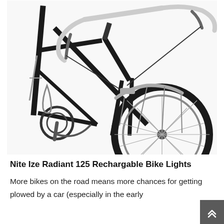[Figure (photo): Close-up photo of a black road bicycle showing the front fork, wheel with spokes, drop handlebars with white bar tape and brake levers, brake cables, fender, and chain/crank area on a white background.]
Nite Ize Radiant 125 Rechargable Bike Lights
More bikes on the road means more chances for getting plowed by a car (especially in the early